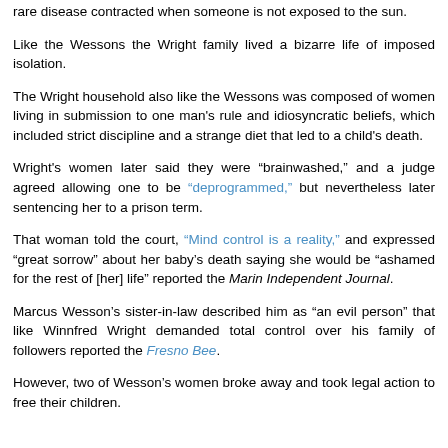rare disease contracted when someone is not exposed to the sun.
Like the Wessons the Wright family lived a bizarre life of imposed isolation.
The Wright household also like the Wessons was composed of women living in submission to one man's rule and idiosyncratic beliefs, which included strict discipline and a strange diet that led to a child's death.
Wright's women later said they were “brainwashed,” and a judge agreed allowing one to be “deprogrammed,” but nevertheless later sentencing her to a prison term.
That woman told the court, “Mind control is a reality,” and expressed “great sorrow” about her baby’s death saying she would be “ashamed for the rest of [her] life” reported the Marin Independent Journal.
Marcus Wesson’s sister-in-law described him as “an evil person” that like Winnfred Wright demanded total control over his family of followers reported the Fresno Bee.
However, two of Wesson’s women broke away and took legal action to free their children.